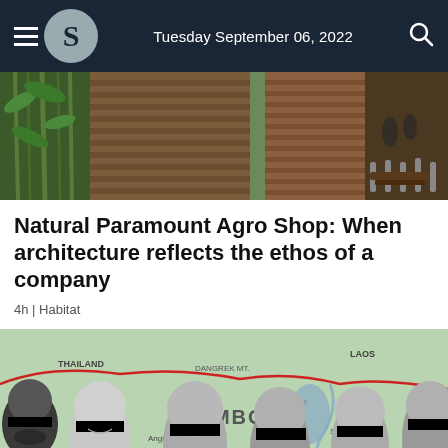Tuesday September 06, 2022
[Figure (photo): Exterior of Natural Paramount Agro Shop showing bamboo plants, wooden slatted facade panels, and an outdoor seating area with people in the background.]
Natural Paramount Agro Shop: When architecture reflects the ethos of a company
4h | Habitat
[Figure (photo): Composite image showing a map of Cambodia with surrounding countries (Thailand, Laos) and black-and-white portraits of several men with black bars covering their eyes.]